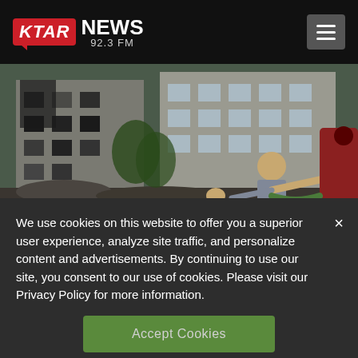KTAR NEWS 92.3 FM
[Figure (photo): Photo of damaged apartment building with a worker in foreground operating equipment, war-damaged multi-story residential building with burned-out windows visible in background]
We use cookies on this website to offer you a superior user experience, analyze site traffic, and personalize content and advertisements. By continuing to use our site, you consent to our use of cookies. Please visit our Privacy Policy for more information.
Accept Cookies